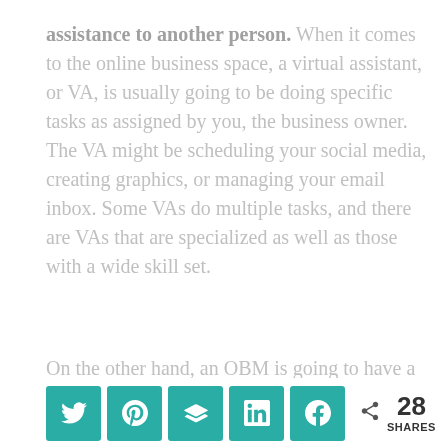assistance to another person. When it comes to the online business space, a virtual assistant, or VA, is usually going to be doing specific tasks as assigned by you, the business owner. The VA might be scheduling your social media, creating graphics, or managing your email inbox. Some VAs do multiple tasks, and there are VAs that are specialized as well as those with a wide skill set.
On the other hand, an OBM is going to have a better understanding of how all the moving parts of your business fit together.
[Figure (infographic): Social sharing bar with Twitter, Pinterest, Buffer/layers, LinkedIn, and Facebook buttons in teal, plus a share icon with count showing 28 SHARES]